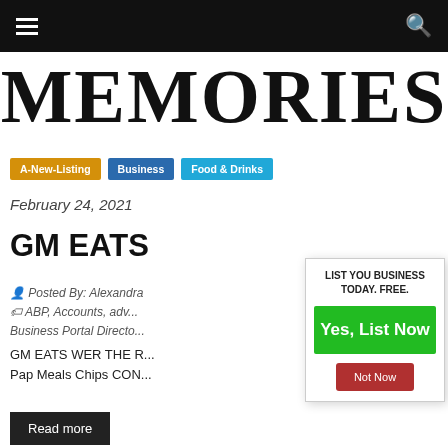Navigation bar with hamburger menu and search icon
[Figure (logo): Partial logo text reading MEMORIES in large serif font]
A-New-Listing
Business
Food & Drinks
February 24, 2021
GM EATS
Posted By: Alexandra   ABP, Accounts, adv... Business Portal Directo...
GM EATS WER THE R... Pap Meals Chips CON...
LIST YOU BUSINESS TODAY. FREE.
Yes, List Now
Not Now